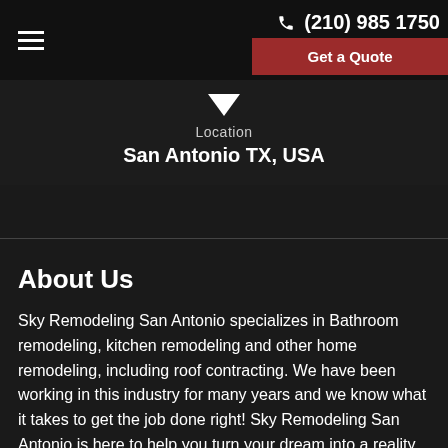(210) 985 1750 | Get a Quote
Location
San Antonio TX, USA
About Us
Sky Remodeling San Antonio specializes in Bathroom remodeling, kitchen remodeling and other home remodeling, including roof contracting. We have been working in this industry for many years and we know what it takes to get the job done right! Sky Remodeling San Antonio is here to help you turn your dream into a reality.